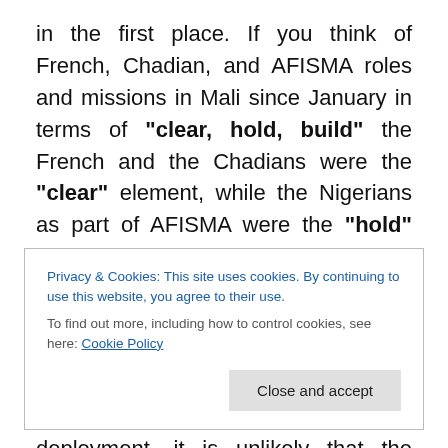in the first place. If you think of French, Chadian, and AFISMA roles and missions in Mali since January in terms of "clear, hold, build" the French and the Chadians were the "clear" element, while the Nigerians as part of AFISMA were the "hold" element. (I don't think we're at the "build" stage as yet.) If Nigeria, as the seat of ECOWAS and the largest contributor to UN peacekeeping operations in ECOWAS, had not been part of that initial AFISMA deployment, it is unlikely that the force would have gotten off the ground in the first place. So yeah, it wouldn't be great if the Nigerians end up pulling out of
Privacy & Cookies: This site uses cookies. By continuing to use this website, you agree to their use.
To find out more, including how to control cookies, see here: Cookie Policy